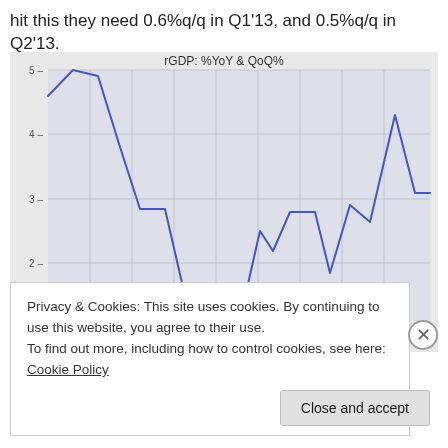hit this they need 0.6%q/q in Q1'13, and 0.5%q/q in Q2'13.
[Figure (line-chart): Line chart showing rGDP %YoY and QoQ% over time, ranging from approximately 1 to 5.3, with a peak near 5.3 early on, declining to about 1 in the middle, then recovering to about 4.3 before settling near 3.1]
Privacy & Cookies: This site uses cookies. By continuing to use this website, you agree to their use.
To find out more, including how to control cookies, see here: Cookie Policy
Close and accept